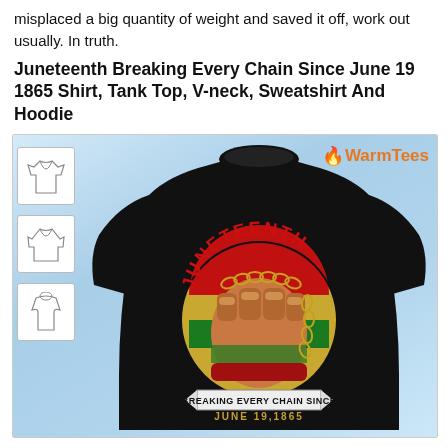misplaced a big quantity of weight and saved it off, work out usually. In truth.
Juneteenth Breaking Every Chain Since June 19 1865 Shirt, Tank Top, V-neck, Sweatshirt And Hoodie
[Figure (photo): Product photo of a black sweatshirt with Juneteenth graphic design featuring a raised fist breaking chains with text 'JUNETEENTH' in red arc, 'BREAKING EVERY CHAIN SINCE JUNE 19,1865' on a circular design with red, yellow, and green stripes. WarmTees logo in top right. Three shirt style thumbnails on the left side.]